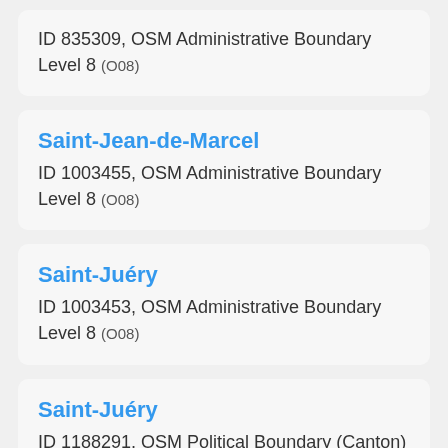ID 835309, OSM Administrative Boundary Level 8 (O08)
Saint-Jean-de-Marcel
ID 1003455, OSM Administrative Boundary Level 8 (O08)
Saint-Juéry
ID 1003453, OSM Administrative Boundary Level 8 (O08)
Saint-Juéry
ID 1188291, OSM Political Boundary (Canton)